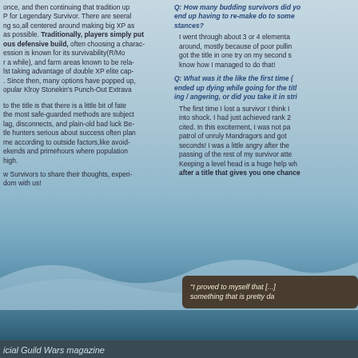once, and then continuing that tradition up P for Legendary Survivor. There are seeral ng so,all centered around making big XP as as possible. Traditionally, players simply put ous defensive build, often choosing a charac- ession is known for its survivability(R/Mo r a while), and farm areas known to be rela- lst taking advantage of double XP elite cap-. Since then, many options have popped up, opular Klroy Stonekin's Punch-Out Extrava
to the title is that there is a little bit of fate the most safe-guarded methods are subject lag, disconnects, and plain-old bad luck Be- tle hunters serious about success often plan me according to outside factors,like avoid- ekends and primehours where population high.
w Survivors to share their thoughts, experi- dom with us!
Q: How many budding survivors did you end up having to re-make do to some stances?
I went through about 3 or 4 elementa around, mostly because of poor pullin got the title in one try on my second s know how I managed to do that!
Q: What was it the like the first time (e ended up dying while going for the titl ing / angering, or did you take it in stri
The first time I lost a survivor I think I into shock. I had just achieved rank 2 cited. In this excitement, I was not pa patrol of unruly Mandragors and got seconds! I was a little angry after the passing of the rest of my survivor att Keeping a level head is a huge help wh after a title that gives you one chance
“I proved to myself that [...] something that is pretty da
icial Guild Wars magazine